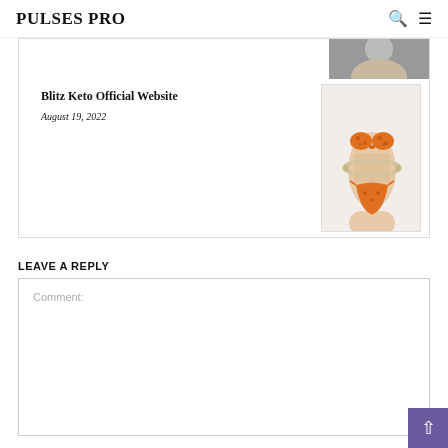PULSES PRO
[Figure (photo): Partial card showing top strip image (cropped head/shoulders photo)]
Blitz Keto Official Website
August 19, 2022
[Figure (photo): Woman in orange bikini measuring waist with tape measure]
LEAVE A REPLY
Comment: